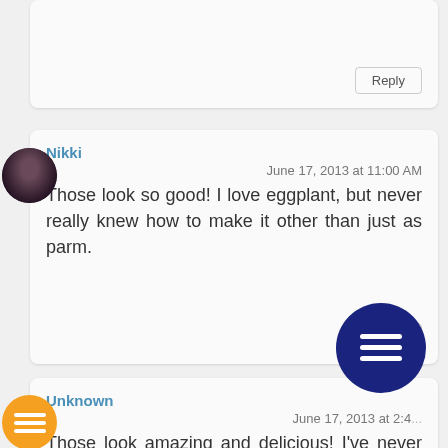Reply
Nikki
June 17, 2013 at 11:00 AM
Those look so good! I love eggplant, but never really knew how to make it other than just as parm.
Reply
Unknown
June 17, 2013 at 2:4...
Those look amazing and delicious! I've never had any kin... tapas before.
Reply